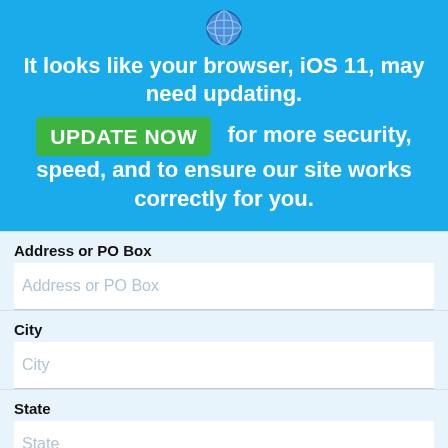[Figure (screenshot): Browser update notification banner with blue background, shield/globe icon, bold white text reading 'It looks like your browser, iOS 11, may need updating.' with a green UPDATE NOW button and text 'for more security, speed, and to ensure our site works correctly for you.']
Address or PO Box
Address or PO Box (placeholder)
City
City (placeholder)
State
State (placeholder)
Postcode